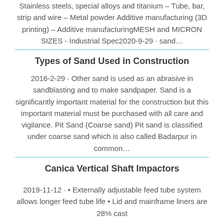Stainless steels, special alloys and titanium – Tube, bar, strip and wire – Metal powder Additive manufacturing (3D printing) – Additive manufacturingMESH and MICRON SIZES - Industrial Spec2020-9-29 · sand…
Types of Sand Used in Construction
2016-2-29 · Other sand is used as an abrasive in sandblasting and to make sandpaper. Sand is a significantly important material for the construction but this important material must be purchased with all care and vigilance. Pit Sand (Coarse sand) Pit sand is classified under coarse sand which is also called Badarpur in common…
Canica Vertical Shaft Impactors
2019-11-12 · • Externally adjustable feed tube system allows longer feed tube life • Lid and mainframe liners are 28% cast